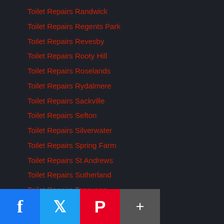Toilet Repairs Randwick
Toilet Repairs Regents Park
Toilet Repairs Revesby
Toilet Repairs Rooty Hill
Toilet Repairs Roselands
Toilet Repairs Rydalmere
Toilet Repairs Sackville
Toilet Repairs Sefton
Toilet Repairs Silverwater
Toilet Repairs Spring Farm
Toilet Repairs St Andrews
Toilet Repairs Sutherland
Toilet Repairs Tennyson
Toilet Repairs The Ponds
Toilet Repairs The Slopes
Toilet Repairs Wareemba
Toilet Repairs Waterloo
Toilet Repairs Wentworthville
Toilet Repairs Westmead